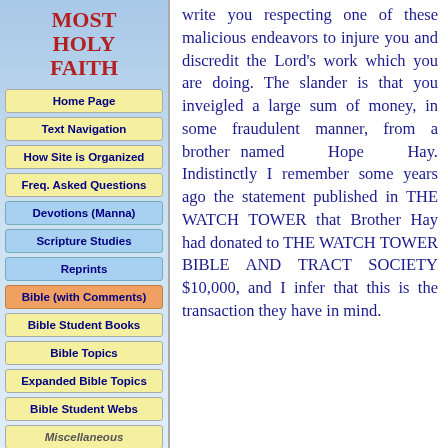MOST HOLY FAITH
Home Page
Text Navigation
How Site is Organized
Freq. Asked Questions
Devotions (Manna)
Scripture Studies
Reprints
Bible (with Comments)
Bible Student Books
Bible Topics
Expanded Bible Topics
Bible Student Webs
Miscellaneous
write you respecting one of these malicious endeavors to injure you and discredit the Lord's work which you are doing. The slander is that you inveigled a large sum of money, in some fraudulent manner, from a brother named Hope Hay. Indistinctly I remember some years ago the statement published in THE WATCH TOWER that Brother Hay had donated to THE WATCH TOWER BIBLE AND TRACT SOCIETY $10,000, and I infer that this is the transaction they have in mind.